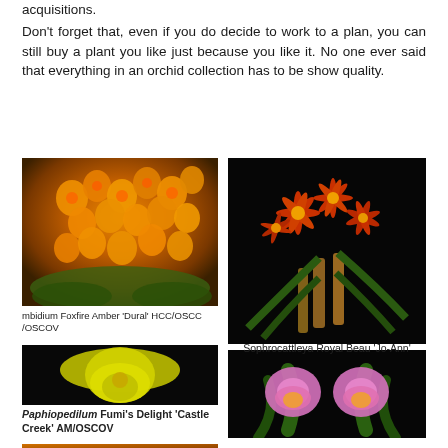acquisitions.
Don't forget that, even if you do decide to work to a plan, you can still buy a plant you like just because you like it. No one ever said that everything in an orchid collection has to be show quality.
[Figure (photo): Orange orchid flowers (Cymbidium Foxfire Amber 'Dural' HCC/OSCC/OSCOV)]
mbidium Foxfire Amber 'Dural' HCC/OSCC /OSCOV
[Figure (photo): Yellow Paphiopedilum orchid flower (Paphiopedilum Fumi's Delight 'Castle Creek' AM/OSCOV)]
Paphiopedilum Fumi's Delight 'Castle Creek' AM/OSCOV
[Figure (photo): Sophrocattleya Royal Beau 'Jo-Ann' — two orchid flowers with dark background, star-shaped red-yellow upper flower and pink lower flower]
Sophrocattleya Royal Beau 'Jo-Ann'
[Figure (photo): Partial view of orange orchid at bottom of page]